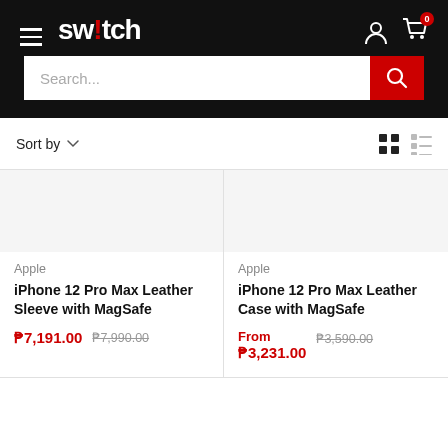[Figure (screenshot): Switch store header with hamburger menu, logo, user icon, cart icon with 0 badge, and search bar with red search button]
Sort by
Apple
iPhone 12 Pro Max Leather Sleeve with MagSafe
₱7,191.00  ₱7,990.00
Apple
iPhone 12 Pro Max Leather Case with MagSafe
From ₱3,231.00  ₱3,590.00